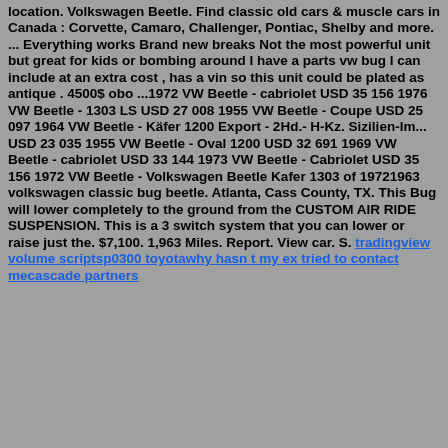location. Volkswagen Beetle. Find classic old cars & muscle cars in Canada : Corvette, Camaro, Challenger, Pontiac, Shelby and more. ... Everything works Brand new breaks Not the most powerful unit but great for kids or bombing around I have a parts vw bug I can include at an extra cost , has a vin so this unit could be plated as antique . 4500$ obo ...1972 VW Beetle - cabriolet USD 35 156 1976 VW Beetle - 1303 LS USD 27 008 1955 VW Beetle - Coupe USD 25 097 1964 VW Beetle - Käfer 1200 Export - 2Hd.- H-Kz. Sizilien-Im... USD 23 035 1955 VW Beetle - Oval 1200 USD 32 691 1969 VW Beetle - cabriolet USD 33 144 1973 VW Beetle - Cabriolet USD 35 156 1972 VW Beetle - Volkswagen Beetle Kafer 1303 of 19721963 volkswagen classic bug beetle. Atlanta, Cass County, TX. This Bug will lower completely to the ground from the CUSTOM AIR RIDE SUSPENSION. This is a 3 switch system that you can lower or raise just the. $7,100. 1,963 Miles. Report. View car. S. tradingview volume scriptsp0300 toyotawhy hasn t my ex tried to contact mecascade partners